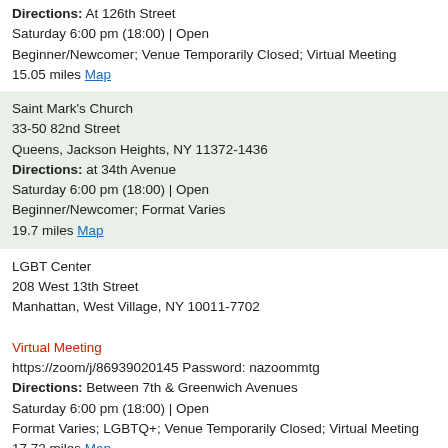Directions: At 126th Street
Saturday 6:00 pm (18:00) | Open
Beginner/Newcomer; Venue Temporarily Closed; Virtual Meeting
15.05 miles Map
Saint Mark's Church
33-50 82nd Street
Queens, Jackson Heights, NY 11372-1436
Directions: at 34th Avenue
Saturday 6:00 pm (18:00) | Open
Beginner/Newcomer; Format Varies
19.7 miles Map
LGBT Center
208 West 13th Street
Manhattan, West Village, NY 10011-7702

Virtual Meeting
https://zoom/j/86939020145 Password: nazoommtg
Directions: Between 7th & Greenwich Avenues
Saturday 6:00 pm (18:00) | Open
Format Varies; LGBTQ+; Venue Temporarily Closed; Virtual Meeting
17.72 miles Map
Saint John's Church
155 Milton Street